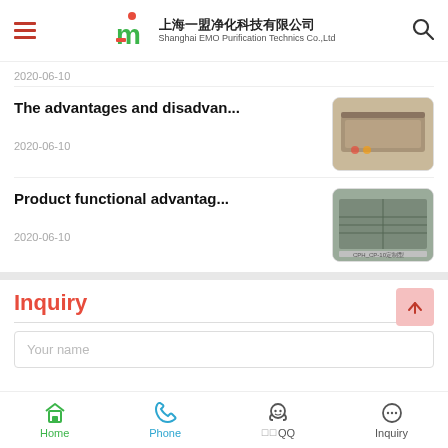上海一盟净化科技有限公司 Shanghai EMO Purification Technics Co.,Ltd
2020-06-10
The advantages and disadvan...
2020-06-10
Product functional advantag...
2020-06-10
Inquiry
Your name
Home  Phone  QQ  Inquiry